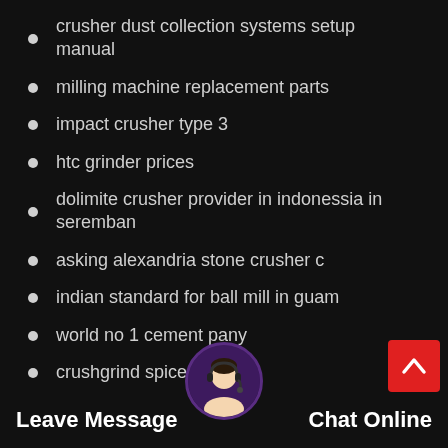crusher dust collection systems setup manual
milling machine replacement parts
impact crusher type 3
htc grinder prices
dolimite crusher provider in indonessia in seremban
asking alexandria stone crusher c
indian standard for ball mill in guam
world no 1 cement pany
crushgrind spice grinder
roller mill sl 250 s com
noise level jaw crusher
Leave Message   Chat Online